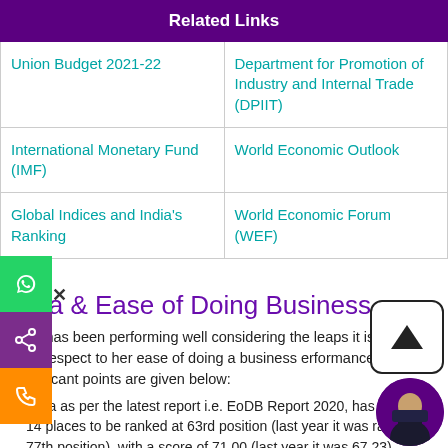| Related Links |
| --- |
| Union Budget 2021-22 | Department for Promotion of Industry and Internal Trade (DPIIT) |
| International Monetary Fund (IMF) | World Economic Outlook |
| Global Indices and India's Ranking | World Economic Forum (WEF) |
India & Ease of Doing Business
India has been performing well considering the leaps it is taking with respect to her ease of doing a business performance. The significant points are given below:
India as per the latest report i.e. EoDB Report 2020, has jumped 14 places to be ranked at 63rd position (last year it was ranked at 77th position), with a score of 71.00 (last year it was 67.23)
India continued to be at the first position among South